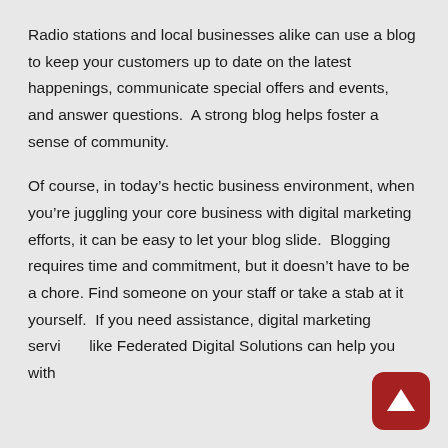Radio stations and local businesses alike can use a blog to keep your customers up to date on the latest happenings, communicate special offers and events, and answer questions.  A strong blog helps foster a sense of community.
Of course, in today’s hectic business environment, when you’re juggling your core business with digital marketing efforts, it can be easy to let your blog slide.  Blogging requires time and commitment, but it doesn’t have to be a chore. Find someone on your staff or take a stab at it yourself.  If you need assistance, digital marketing services like Federated Digital Solutions can help you with